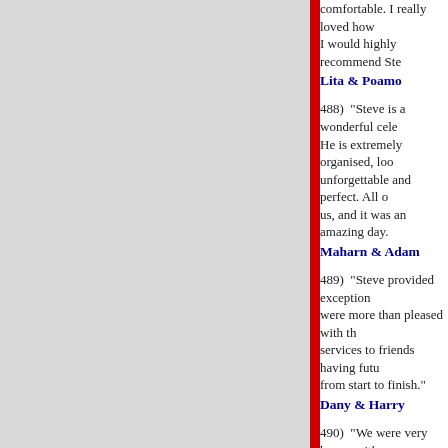comfortable. I really loved how I would highly recommend Ste
Lita & Poamo
488)  "Steve is a wonderful cele He is extremely organised, loo unforgettable and perfect. All c us, and it was an amazing day.
Maharn & Adam
489)  "Steve provided exception were more than pleased with th services to friends having futu from start to finish."
Dany & Harry
490)  "We were very happy with was there on time on the day a Everybody loved it!"
Barry & Intani
491)  "Steve made the whole ex style bought smiles to everyone as much as we did!"
Sarah & Dale
492)  "Steve was a great celebra being very easy to get along wi you so much for roasting in the him so much for that.